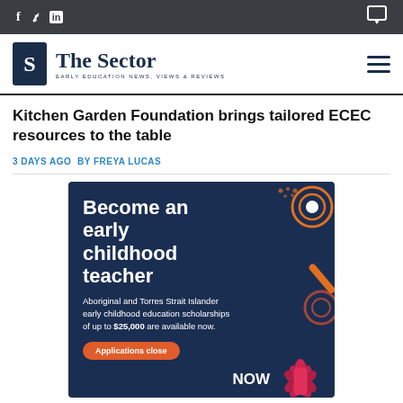f  t  in  [chat icon]
[Figure (logo): The Sector logo — stylized S in dark box, text 'The Sector' with tagline 'EARLY EDUCATION NEWS, VIEWS & REVIEWS']
Kitchen Garden Foundation brings tailored ECEC resources to the table
3 DAYS AGO  BY FREYA LUCAS
[Figure (illustration): Advertisement banner: 'Become an early childhood teacher — Aboriginal and Torres Strait Islander early childhood education scholarships of up to $25,000 are available now. Applications close NOW.' Dark navy background with decorative Aboriginal dot art circles and lotus flower.]